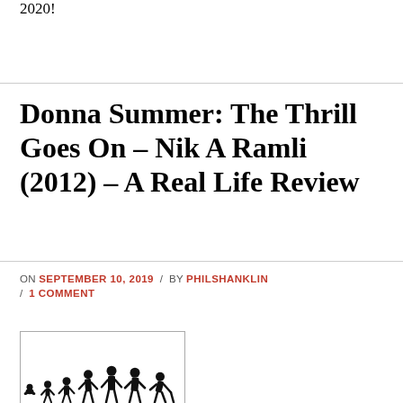2020!
Donna Summer: The Thrill Goes On – Nik A Ramli (2012) – A Real Life Review
ON SEPTEMBER 10, 2019 / BY PHILSHANKLIN / 1 COMMENT
[Figure (illustration): Silhouette image of human evolution from infant to elderly person with cane, shown as black figures progressing from left to right]